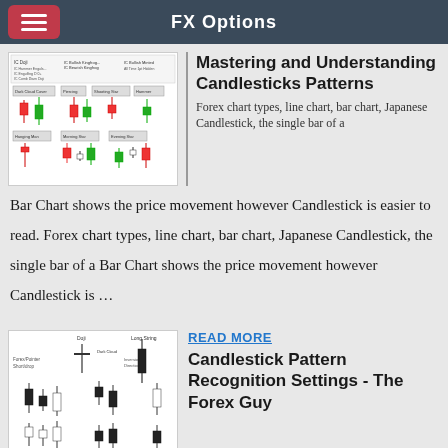FX Options
[Figure (illustration): Candlestick patterns reference chart showing bullish and bearish candlestick formations with labels]
Mastering and Understanding Candlesticks Patterns
Forex chart types, line chart, bar chart, Japanese Candlestick, the single bar of a Bar Chart shows the price movement however Candlestick is easier to read. Forex chart types, line chart, bar chart, Japanese Candlestick, the single bar of a Bar Chart shows the price movement however Candlestick is …
READ MORE
[Figure (illustration): Candlestick pattern recognition settings diagram showing various candlestick formations]
Candlestick Pattern Recognition Settings - The Forex Guy
Below is an example of an individual candlestick The Secrets Can We Read From One Candlestick Pattern. A candlestick is simply one